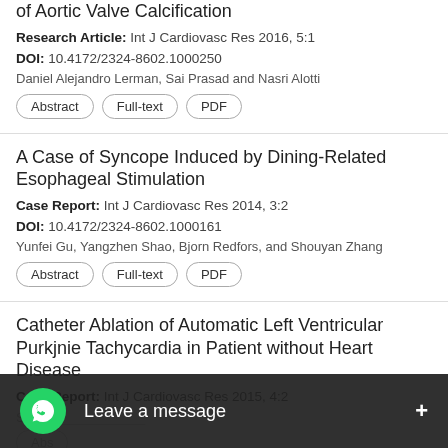of Aortic Valve Calcification
Research Article: Int J Cardiovasc Res 2016, 5:1
DOI: 10.4172/2324-8602.1000250
Daniel Alejandro Lerman, Sai Prasad and Nasri Alotti
A Case of Syncope Induced by Dining-Related Esophageal Stimulation
Case Report: Int J Cardiovasc Res 2014, 3:2
DOI: 10.4172/2324-8602.1000161
Yunfei Gu, Yangzhen Shao, Bjorn Redfors, and Shouyan Zhang
Catheter Ablation of Automatic Left Ventricular Purkjnie Tachycardia in Patient without Heart Disease
Case Report: Int J Cardiovasc Res 2015, 4:2